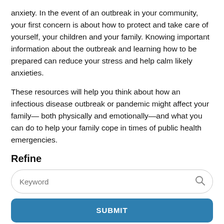anxiety. In the event of an outbreak in your community, your first concern is about how to protect and take care of yourself, your children and your family. Knowing important information about the outbreak and learning how to be prepared can reduce your stress and help calm likely anxieties.
These resources will help you think about how an infectious disease outbreak or pandemic might affect your family— both physically and emotionally—and what you can do to help your family cope in times of public health emergencies.
Refine
[Figure (screenshot): Keyword search input field with a search icon on the right, rounded border]
[Figure (screenshot): SUBMIT button, blue rounded rectangle]
[Figure (screenshot): RESET button, blue rounded rectangle]